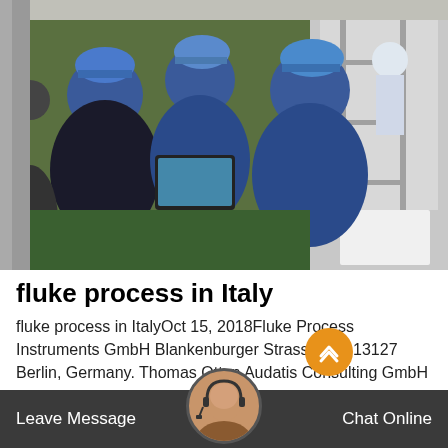[Figure (photo): Workers in blue hard hats crouching on a green floor, examining something together at an industrial facility in Italy. Additional worker in background near equipment.]
fluke process in Italy
fluke process in ItalyOct 15, 2018Fluke Process Instruments GmbH Blankenburger Strasse 135 13127 Berlin, Germany. Thomas Otten Audatis Consulting GmbH Leopoldstr. 2-8 32051 Herford Germany. Email: [email protected] Tel: +49 (0) 5221 85496-90 Italy Fluke Italia SR... Lombardia, 218, CAP 20861...
Leave Message   Chat Online